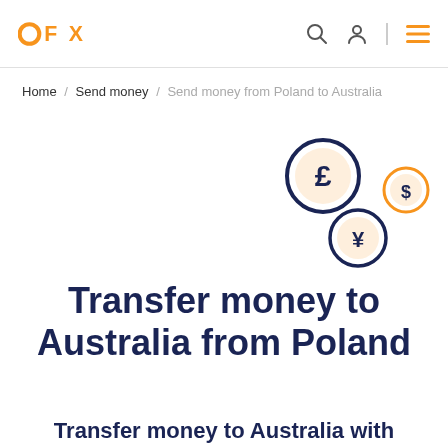OFX — navigation bar with logo, search, account, and menu icons
Home / Send money / Send money from Poland to Australia
[Figure (illustration): Three currency coin icons: a large dark-blue-outlined coin with pound sterling symbol, a smaller orange coin with dollar symbol, and a medium dark-blue-outlined coin with yen symbol, arranged in a loose cluster]
Transfer money to Australia from Poland
Transfer money to Australia with